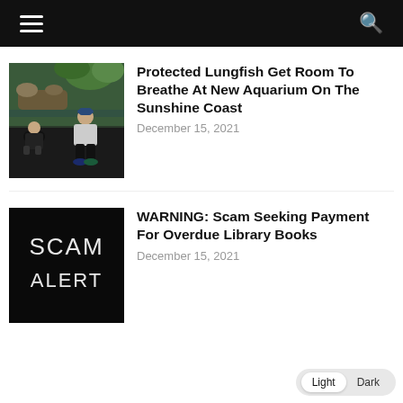Navigation header with hamburger menu and search icon
[Figure (photo): Two people crouching and looking at something on the floor near an aquarium exhibit with water and plants in the background]
Protected Lungfish Get Room To Breathe At New Aquarium On The Sunshine Coast
December 15, 2021
[Figure (photo): Black background with white hand-written text reading SCAM ALERT]
WARNING: Scam Seeking Payment For Overdue Library Books
December 15, 2021